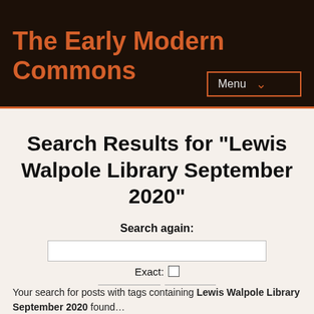The Early Modern Commons
Search Results for "Lewis Walpole Library September 2020"
Search again:
Exact:
Your search for posts with tags containing Lewis Walpole Library September 2020 found…